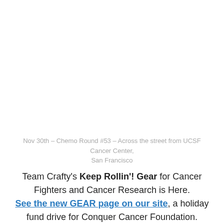Nov 30th – Chemo Round #53 – Across the street from UCSF Cancer Center, San Francisco
Team Crafty's Keep Rollin'! Gear for Cancer Fighters and Cancer Research is Here. See the new GEAR page on our site, a holiday fund drive for Conquer Cancer Foundation.